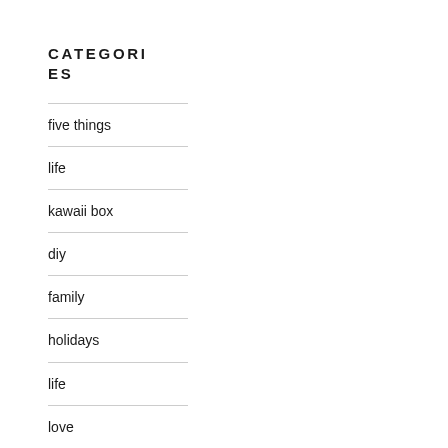CATEGORIES
five things
life
kawaii box
diy
family
holidays
life
love
my shop